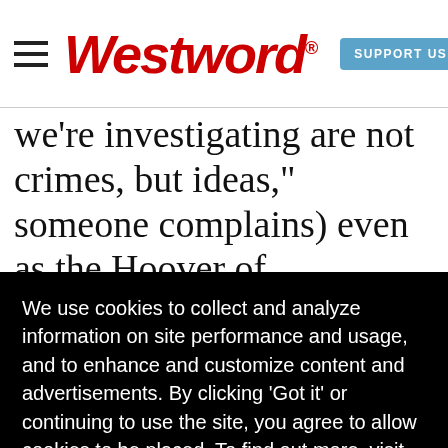Westword | SUPPORT US
we're investigating are not crimes, but ideas," someone complains) even as the Hoover of
[Figure (screenshot): Cookie consent overlay on black background reading: We use cookies to collect and analyze information on site performance and usage, and to enhance and customize content and advertisements. By clicking 'Got it' or continuing to use the site, you agree to allow cookies to be placed. To find out more, visit our cookies policy and our privacy policy. With a yellow 'Got it!' button.]
Red
t-
is
has